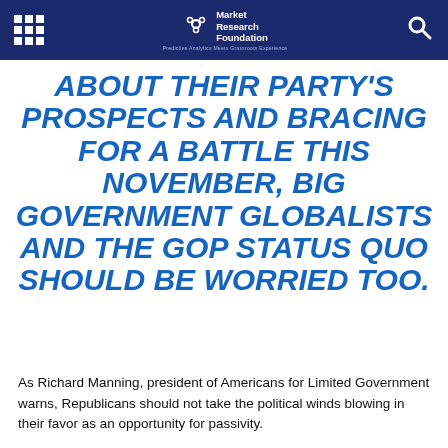Market Research Foundation — Predictive Analytics Meets Grassroots Experience
ABOUT THEIR PARTY'S PROSPECTS AND BRACING FOR A BATTLE THIS NOVEMBER, BIG GOVERNMENT GLOBALISTS AND THE GOP STATUS QUO SHOULD BE WORRIED TOO.
As Richard Manning, president of Americans for Limited Government warns, Republicans should not take the political winds blowing in their favor as an opportunity for passivity.